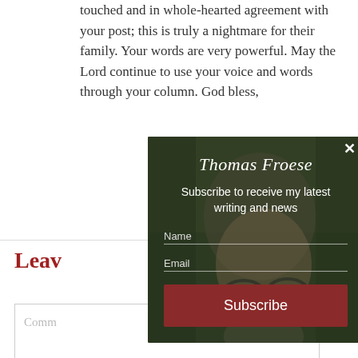touched and in whole-hearted agreement with your post; this is truly a nightmare for their family. Your words are very powerful. May the Lord continue to use your voice and words through your column. God bless,
Leave
Comm
[Figure (screenshot): A modal popup overlay showing Thomas Froese newsletter subscription form. The background shows a photo of a bearded man wearing glasses. The modal contains: title 'Thomas Froese' in italic, subtitle 'Subscribe to receive my latest writing and news', Name field, Email field, and a red Subscribe button. There is an X close button in the top right.]